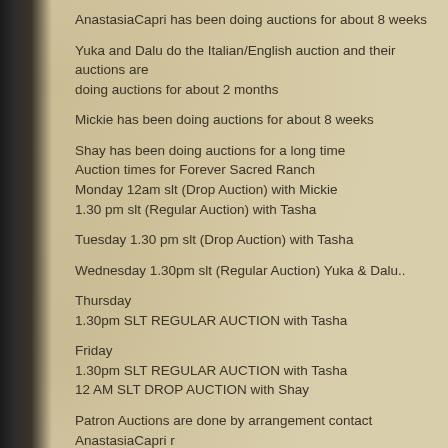AnastasiaCapri has been doing auctions for about 8 weeks
Yuka and Dalu do the Italian/English auction and their auctions are doing auctions for about 2 months
Mickie has been doing auctions for about 8 weeks
Shay has been doing auctions for a long time
Auction times for Forever Sacred Ranch
Monday 12am slt (Drop Auction) with Mickie
1.30 pm slt (Regular Auction) with Tasha
Tuesday 1.30 pm slt (Drop Auction) with Tasha
Wednesday 1.30pm slt (Regular Auction) Yuka & Dalu..
Thursday
1.30pm SLT REGULAR AUCTION with Tasha
Friday
1.30pm SLT REGULAR AUCTION with Tasha
12 AM SLT DROP AUCTION with Shay
Patron Auctions are done by arrangement contact AnastasiaCapri r resident
Drop Auctions site